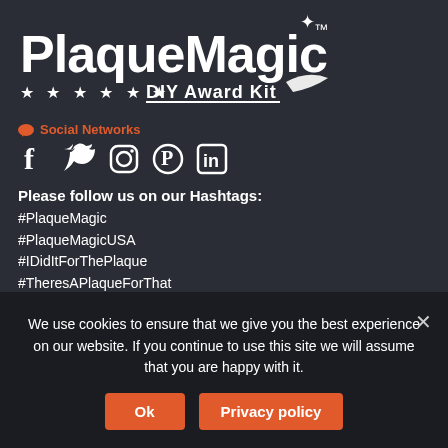[Figure (logo): PlaqueMagic DIY Award Kit logo in white text on dark background with stars and decorative elements]
Social Networks
[Figure (infographic): Social media icons: Facebook, Twitter, Instagram, Pinterest, LinkedIn]
Please follow us on our Hashtags:
#PlaqueMagic
#PlaqueMagicUSA
#IDidItForThePlaque
#TheresAPlaqueForThat
Leave A Review!
We use cookies to ensure that we give you the best experience on our website. If you continue to use this site we will assume that you are happy with it.
Ok
Privacy policy